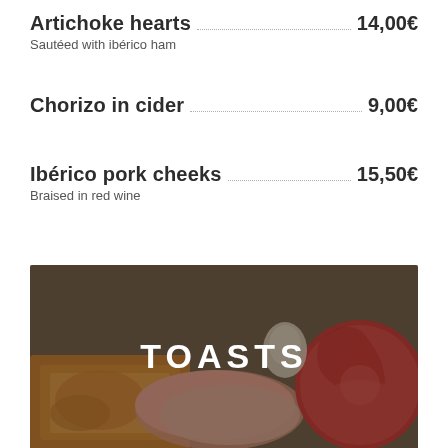Artichoke hearts .... 14,00€
Sautéed with ibérico ham
Chorizo in cider .... 9,00€
Ibérico pork cheeks .... 15,50€
Braised in red wine
[Figure (photo): Food photo showing toasts with ham and tomato, overlaid with the section title TOASTS in white text]